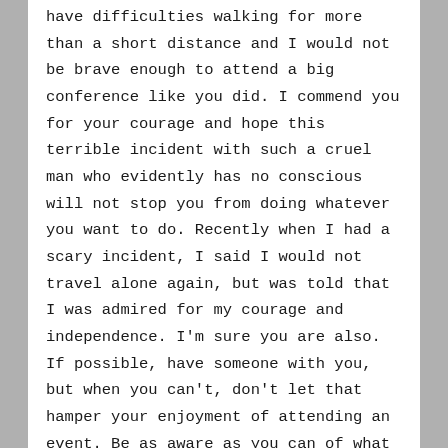have difficulties walking for more than a short distance and I would not be brave enough to attend a big conference like you did. I commend you for your courage and hope this terrible incident with such a cruel man who evidently has no conscious will not stop you from doing whatever you want to do. Recently when I had a scary incident, I said I would not travel alone again, but was told that I was admired for my courage and independence. I'm sure you are also. If possible, have someone with you, but when you can't, don't let that hamper your enjoyment of attending an event. Be as aware as you can of what is going on around you and the people who are around you. This man who hit you must have had some weird sense of humor. To laugh at